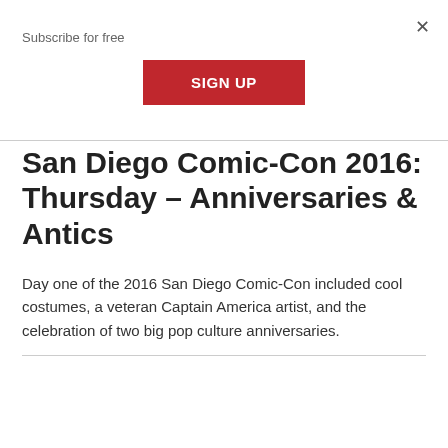Subscribe for free
×
SIGN UP
San Diego Comic-Con 2016: Thursday – Anniversaries & Antics
Day one of the 2016 San Diego Comic-Con included cool costumes, a veteran Captain America artist, and the celebration of two big pop culture anniversaries.